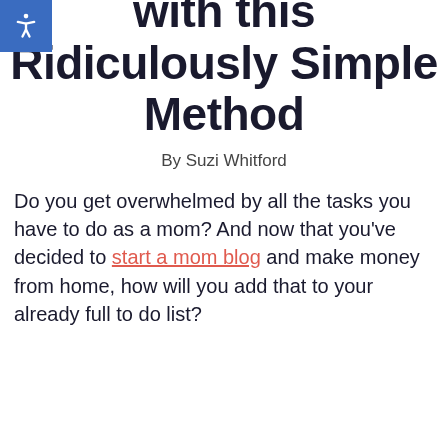with this Ridiculously Simple Method
By Suzi Whitford
Do you get overwhelmed by all the tasks you have to do as a mom? And now that you've decided to start a mom blog and make money from home, how will you add that to your already full to do list?